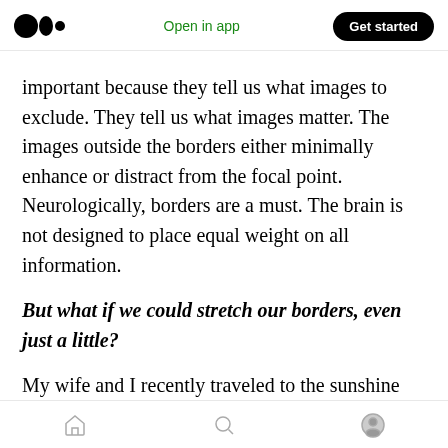Medium app navigation bar — logo, Open in app, Get started
important because they tell us what images to exclude. They tell us what images matter. The images outside the borders either minimally enhance or distract from the focal point. Neurologically, borders are a must. The brain is not designed to place equal weight on all information.
But what if we could stretch our borders, even just a little?
My wife and I recently traveled to the sunshine state of Florida to visit an ailing friend. We
Bottom navigation: Home, Search, Profile